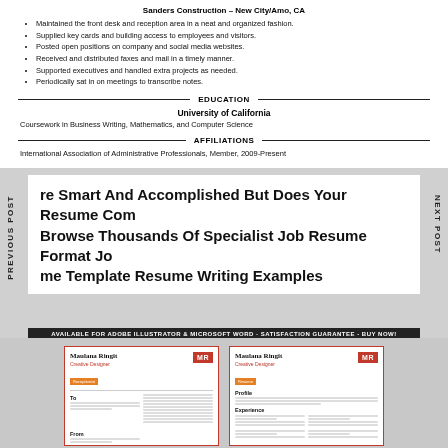Sanders Construction – New City/Amo, CA
Maintained the front desk and reception area in a neat and organized fashion.
Supplied key cards and building access to employees and visitors.
Posted open positions on company and social media websites.
Received and distributed faxes and mail in a timely manner.
Supported executives and handled extra projects as needed.
Periodically sat in on meetings to transcribe notes.
EDUCATION
University of California
Coursework in Business Writing, Mathematics, and Computer Science
AFFILIATIONS
International Association of Administrative Professionals, Member, 2009-Present
PREVIOUS POST
NEXT POST
re Smart And Accomplished But Does Your Resume Com Browse Thousands Of Specialist Job Resume Format Jo me Template Resume Writing Examples
AVAILABLE FOR ADOBE ILLUSTRATOR & MICROSOFT WORD - SATISFACTION GUARANTEE - BUY NOW!
[Figure (illustration): Two resume template thumbnail previews side by side — a cover letter template and a resume template, both branded 'Maulana Ringit / Creative Designer' with red accents and MR monogram badge.]